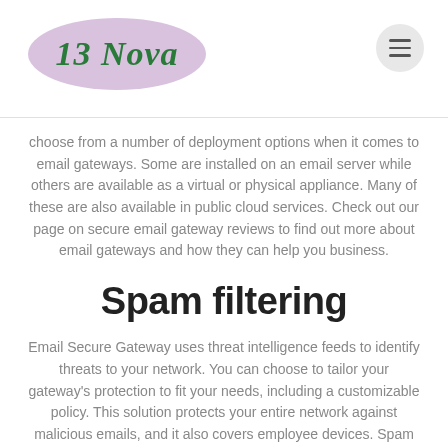[Figure (logo): 13 Nova logo: italic green text '13 Nova' on a purple/mauve oval background]
choose from a number of deployment options when it comes to email gateways. Some are installed on an email server while others are available as a virtual or physical appliance. Many of these are also available in public cloud services. Check out our page on secure email gateway reviews to find out more about email gateways and how they can help you business.
Spam filtering
Email Secure Gateway uses threat intelligence feeds to identify threats to your network. You can choose to tailor your gateway's protection to fit your needs, including a customizable policy. This solution protects your entire network against malicious emails, and it also covers employee devices. Spam filtering prevents sensitive data from ...